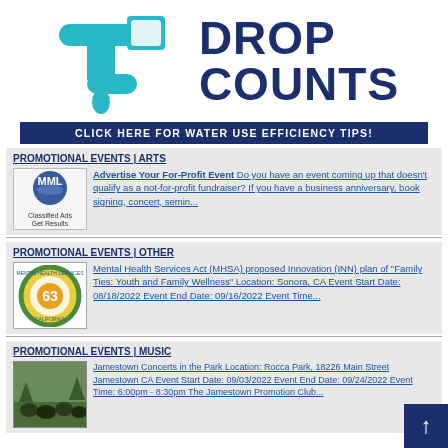[Figure (logo): Teal faucet with water drop and MML logo inside, with DROP COUNTS text in dark navy blue]
DROP COUNTS
CLICK HERE FOR WATER USE EFFICIENCY TIPS!
PROMOTIONAL EVENTS | ARTS
[Figure (logo): MML Classified Ads Get Results logo in a box]
Advertise Your For-Profit Event Do you have an event coming up that doesn't qualify as a not-for-profit fundraiser? If you have a business anniversary, book signing, concert, semin...
PROMOTIONAL EVENTS | OTHER
[Figure (logo): Mental Health Services Act California 63 circular seal logo]
Mental Health Services Act (MHSA) proposed Innovation (INN) plan of "Family Ties: Youth and Family Wellness" Location: Sonora, CA Event Start Date: 08/18/2022 Event End Date: 09/16/2022 Event Time...
PROMOTIONAL EVENTS | MUSIC
[Figure (photo): Outdoor concert crowd in park setting]
Jamestown Concerts in the Park Location: Rocca Park, 18226 Main Street Jamestown CA Event Start Date: 09/03/2022 Event End Date: 09/24/2022 Event Time: 6:00pm - 8:30pm The Jamestown Promotion Club...